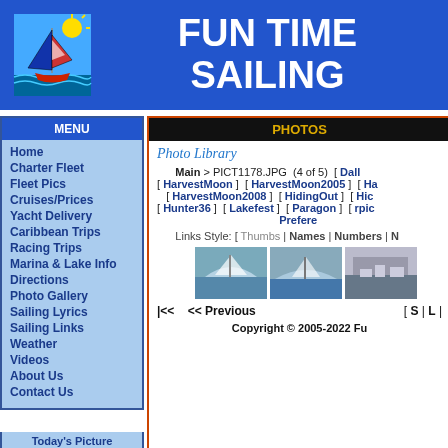[Figure (logo): Sailboat illustration with sun and waves on blue background]
FUN TIME SAILING
MENU
Home
Charter Fleet
Fleet Pics
Cruises/Prices
Yacht Delivery
Caribbean Trips
Racing Trips
Marina & Lake Info
Directions
Photo Gallery
Sailing Lyrics
Sailing Links
Weather
Videos
About Us
Contact Us
PHOTOS
Photo Library
Main > PICT1178.JPG (4 of 5) [ Dall [ HarvestMoon ] [ HarvestMoon2005 ] [ Ha [ HarvestMoon2008 ] [ HidingOut ] [ Hic [ Hunter36 ] [ Lakefest ] [ Paragon ] [ rpic Prefere
Links Style: [ Thumbs | Names | Numbers | N
[Figure (photo): Three thumbnail photos of sailboats]
|<<    << Previous    [ S | L |
Copyright © 2005-2022 Fu
Today's Picture